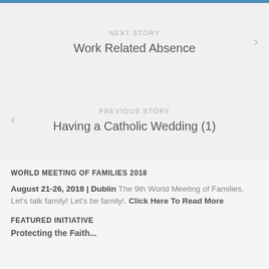NEXT STORY
Work Related Absence
PREVIOUS STORY
Having a Catholic Wedding (1)
WORLD MEETING OF FAMILIES 2018
August 21-26, 2018 | Dublin The 9th World Meeting of Families. Let's talk family! Let's be family!. Click Here To Read More
FEATURED INITIATIVE
Protecting the Faith...